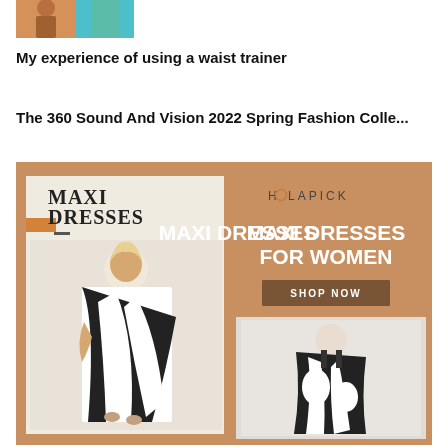[Figure (photo): Partial image of a person at the top of the page, teal/turquoise and orange tones]
My experience of using a waist trainer
The 360 Sound And Vision 2022 Spring Fashion Colle...
[Figure (infographic): Holapick advertisement banner for Maxi Dresses For Women with two dress images on a tan/brown background. Left side shows 'MAXI DRESSES' text with a black and white patterned maxi dress. Right side shows 'HOLAPICK' brand name, 'MAXI DRESSES FOR WOMEN' in large white text, a 'SHOP NOW' button in dark brown, and a second black and white floral maxi dress photo below.]